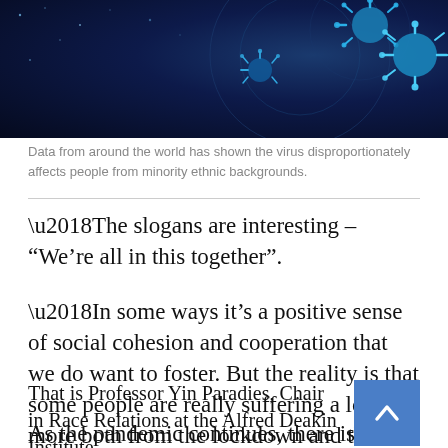[Figure (illustration): Dark blue scientific illustration of coronavirus particles on a dark navy background with geometric circular overlays and cyan/blue spiky virus particles]
Data from around the world has shown the virus disproportionately affects people from minority ethnic backgrounds.
‘The slogans are interesting – “We’re all in this together”.
‘In some ways it’s a positive sense of social cohesion and cooperation that we do want to foster. But the reality is that some people are really suffering a lot more both from the lockdown and the virus.’
That is Professor Yin Paradies, Chair in Race Relations at the Alfred Deakin Institute.
As the pandemic continues, there is growing